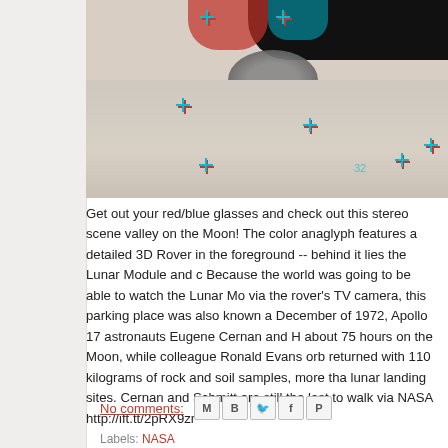[Figure (photo): Anaglyph stereo 3D image (red/blue) of the lunar surface from Apollo 17, showing the Lunar Roving Vehicle in the foreground with the Lunar Module and surrounding valley terrain. Registration cross markers visible across the image.]
Get out your red/blue glasses and check out this stereo scene valley on the Moon! The color anaglyph features a detailed 3D Rover in the foreground -- behind it lies the Lunar Module and c Because the world was going to be able to watch the Lunar Mo via the rover's TV camera, this parking place was also known a December of 1972, Apollo 17 astronauts Eugene Cernan and H about 75 hours on the Moon, while colleague Ronald Evans orb returned with 110 kilograms of rock and soil samples, more tha lunar landing sites. Cernan and Schmitt are still the last to walk via NASA http://ift.tt/2pRX9zr
No comments: